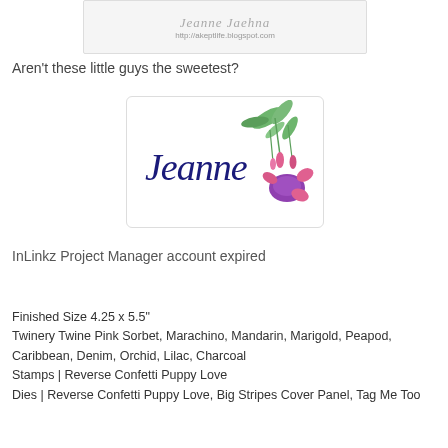[Figure (illustration): Decorative signature image showing 'Jeanne Jaehna' in script font with URL http://akeptlife.blogspot.com]
Aren't these little guys the sweetest?
[Figure (illustration): Decorative signature image of 'Jeanne' in dark blue cursive script with fuchsia flower illustration (pink and purple flowers with green leaves)]
InLinkz Project Manager account expired
Finished Size 4.25 x 5.5"
Twinery Twine Pink Sorbet, Marachino, Mandarin, Marigold, Peapod, Caribbean, Denim, Orchid, Lilac, Charcoal
Stamps | Reverse Confetti Puppy Love
Dies | Reverse Confetti Puppy Love, Big Stripes Cover Panel, Tag Me Too